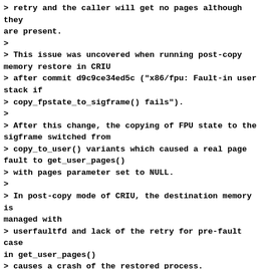> retry and the caller will get no pages although they are present.
>
> This issue was uncovered when running post-copy memory restore in CRIU
> after commit d9c9ce34ed5c ("x86/fpu: Fault-in user stack if
> copy_fpstate_to_sigframe() fails").
>
> After this change, the copying of FPU state to the sigframe switched from
> copy_to_user() variants which caused a real page fault to get_user_pages()
> with pages parameter set to NULL.
>
> In post-copy mode of CRIU, the destination memory is managed with
> userfaultfd and lack of the retry for pre-fault case in get_user_pages()
> causes a crash of the restored process.
>
> Making the pre-fault behavior of get_user_pages() the same as the "normal"
> one fixes the issue.
>
> Fixes: d9c9ce34ed5c ("x86/fpu: Fault-in user stack if copy_fpstate_to_sigframe() fails")
> Signed-off-by: Mike Rapoport <rppt@linux.ibm.com>
> ---
> mm/gup.c | 15 +++++++--------